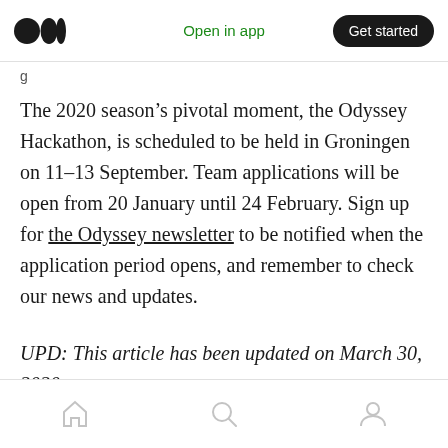Open in app | Get started
The 2020 season’s pivotal moment, the Odyssey Hackathon, is scheduled to be held in Groningen on 11–13 September. Team applications will be open from 20 January until 24 February. Sign up for the Odyssey newsletter to be notified when the application period opens, and remember to check our news and updates.
UPD: This article has been updated on March 30, 2020
home | search | profile